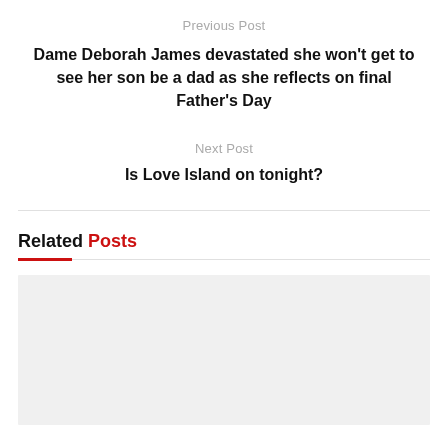Previous Post
Dame Deborah James devastated she won't get to see her son be a dad as she reflects on final Father's Day
Next Post
Is Love Island on tonight?
Related Posts
[Figure (photo): Gray placeholder image for a related post thumbnail]